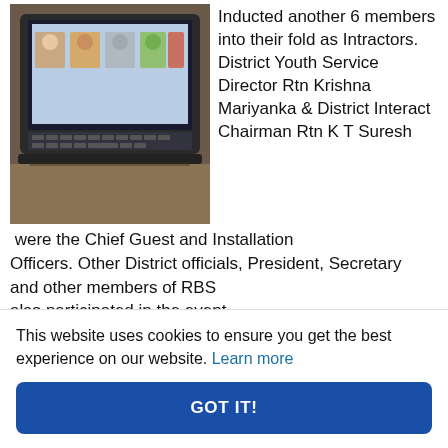[Figure (photo): Photo of a laptop screen showing headshots of multiple people, displayed on a dark wooden surface.]
Inducted another 6 members into their fold as Intractors. District Youth Service Director Rtn Krishna Mariyanka & District Interact Chairman Rtn K T Suresh were the Chief Guest and Installation Officers. Other District officials, President, Secretary and other members of RBS also participated in the event.
Women in Rotary Bangalore South
This website uses cookies to ensure you get the best experience on our website. Learn more
GOT IT!